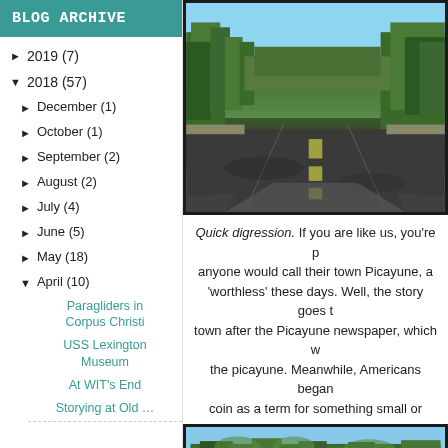BLOG ARCHIVE
► 2019 (7)
▼ 2018 (57)
► December (1)
► October (1)
► September (2)
► August (2)
► July (4)
► June (5)
► May (18)
▼ April (10)
Paragliders in Corpus Christi
USS Lexington Museum
At WIT's End
[Figure (photo): View from inside a car on a highway lined with pine trees under a clear blue sky]
Quick digression. If you are like us, you're p... anyone would call their town Picayune, a... 'worthless' these days. Well, the story goes t... town after the Picayune newspaper, which w... the picayune. Meanwhile, Americans began... coin as a term for something small or
[Figure (photo): View of trees and vegetation along the roadside]